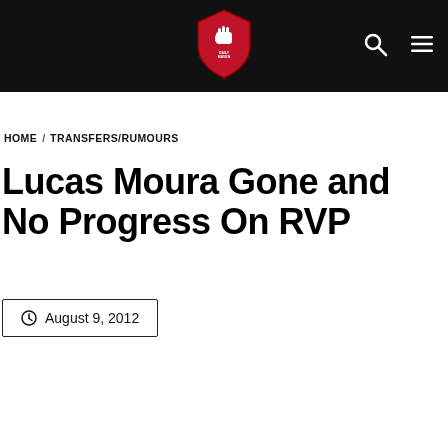Daily Maven — Home / Transfers/Rumours navigation with logo, search and menu icons
HOME / TRANSFERS/RUMOURS
Lucas Moura Gone and No Progress On RVP
August 9, 2012